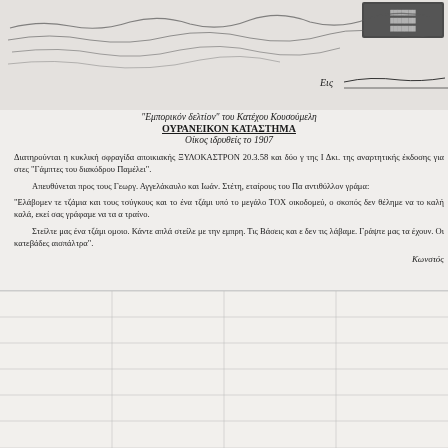[Figure (photo): Top portion of document showing handwritten signatures, stamps and a dark rectangular stamp/seal in upper right corner, with cursive Greek handwriting across the top portion of the page]
Εις___
"Εμπορικόν δελτίον" του Κατέχου Κουσούμελη
ΟΥΡΑΝΕΙΚΟΝ ΚΑΤΑΣΤΗΜΑ
Οίκος ιδρυθείς το 1907
Διατηρούνται η κυκλική σφραγίδα αποικιακής ΞΥΛΟΚΑΣΤΡΟΝ 20.3.58 και δύο γ της Ι Δκι. της αναρτητικής έκδοσης για στες "Γάμπτες του διακόδρου Παμέλει".
Απευθύνεται προς τους Γεωργ. Αγγελάκαυλο και Ιωάν. Στέτη, εταίρους του Πα αντιθύλλον γράμα:
"Ελάβομεν τε τζάμια και τους τσύγκους και το ένα τζάμι υπό το μεγάλο ΤΟΧ οικοδομεύ, ο σκοπός δεν θέλημε να το καλή καλά, εκεί σας γράφαμε να τα α τραίνο.
Στείλτε μας ένα τζάμι ομοιο. Κάντε απλά στείλε με την εμπρη. Τις Βάσεις και ε δεν τις λάβαμε. Γράψτε μας τα έχουν. Οι κατεβάδες αισπάλτρα".
Κωνστός